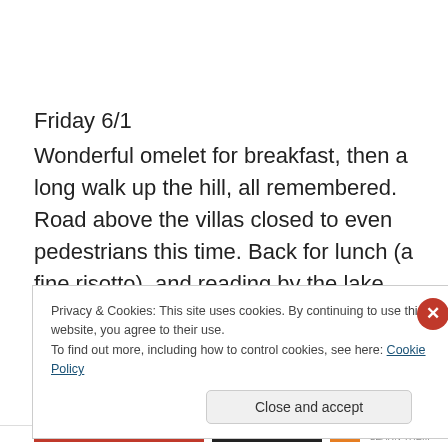Friday 6/1
Wonderful omelet for breakfast, then a long walk up the hill, all remembered. Road above the villas closed to even pedestrians this time. Back for lunch (a fine risotto), and reading by the lake. Some debate about the best way to fly to Vienna, but turns out our travel agent had it right and only Venice has non-stops. A nap, some packing, and
Privacy & Cookies: This site uses cookies. By continuing to use this website, you agree to their use.
To find out more, including how to control cookies, see here: Cookie Policy
Close and accept